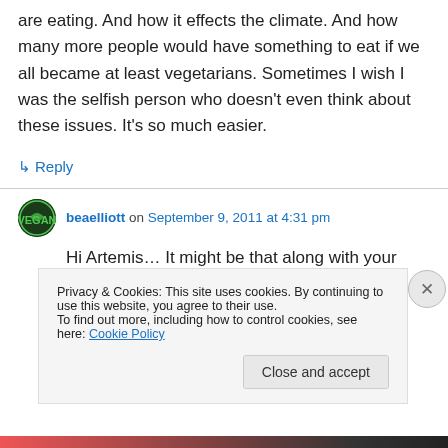are eating. And how it effects the climate. And how many more people would have something to eat if we all became at least vegetarians. Sometimes I wish I was the selfish person who doesn't even think about these issues. It's so much easier.
↳ Reply
beaelliott on September 9, 2011 at 4:31 pm
Hi Artemis… It might be that along with your
Privacy & Cookies: This site uses cookies. By continuing to use this website, you agree to their use.
To find out more, including how to control cookies, see here: Cookie Policy
Close and accept